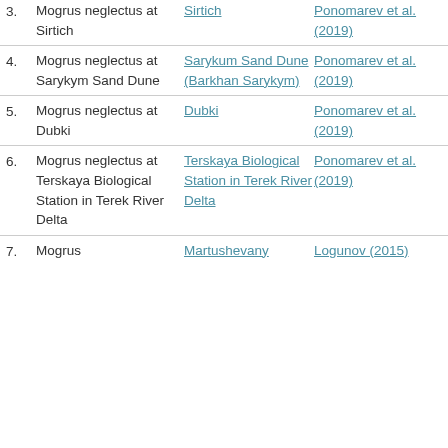3. Mogrus neglectus at Sirtich | Sirtich | Ponomarev et al. (2019)
4. Mogrus neglectus at Sarykym Sand Dune | Sarykum Sand Dune (Barkhan Sarykym) | Ponomarev et al. (2019)
5. Mogrus neglectus at Dubki | Dubki | Ponomarev et al. (2019)
6. Mogrus neglectus at Terskaya Biological Station in Terek River Delta | Terskaya Biological Station in Terek River Delta | Ponomarev et al. (2019)
7. Mogrus | Martushevany | Logunov (2015)